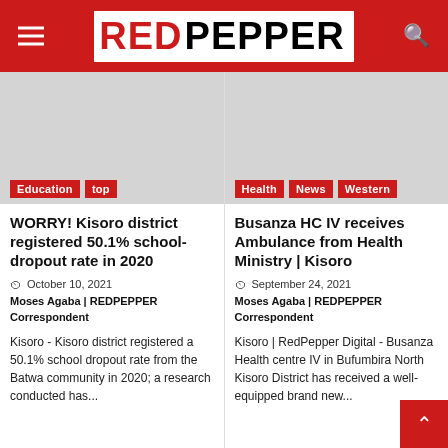RED PEPPER
[Figure (photo): Gray placeholder image for education/top article]
Education  top
WORRY! Kisoro district registered 50.1% school-dropout rate in 2020
October 10, 2021  Moses Agaba | REDPEPPER Correspondent
Kisoro - Kisoro district registered a 50.1% school dropout rate from the Batwa community in 2020; a research conducted has...
[Figure (photo): Gray placeholder image for health/news/western article]
Health  News  Western
Busanza HC IV receives Ambulance from Health Ministry | Kisoro
September 24, 2021  Moses Agaba | REDPEPPER Correspondent
Kisoro | RedPepper Digital - Busanza Health centre IV in Bufumbira North Kisoro District has received a well-equipped brand new...